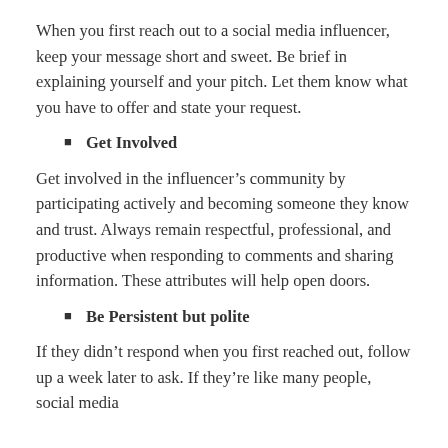When you first reach out to a social media influencer, keep your message short and sweet. Be brief in explaining yourself and your pitch. Let them know what you have to offer and state your request.
Get Involved
Get involved in the influencer’s community by participating actively and becoming someone they know and trust. Always remain respectful, professional, and productive when responding to comments and sharing information. These attributes will help open doors.
Be Persistent but polite
If they didn’t respond when you first reached out, follow up a week later to ask. If they’re like many people, social media